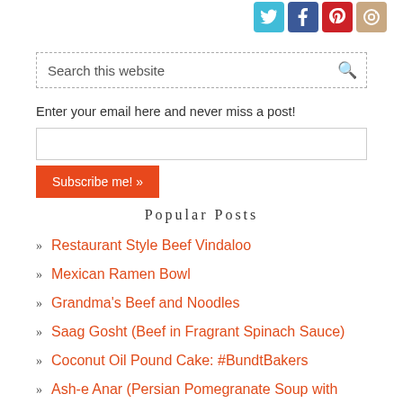[Figure (illustration): Social media icons: Twitter (teal), Facebook (blue), Pinterest (red), Instagram (tan/brown)]
Search this website
Enter your email here and never miss a post!
Subscribe me! »
Popular Posts
Restaurant Style Beef Vindaloo
Mexican Ramen Bowl
Grandma's Beef and Noodles
Saag Gosht (Beef in Fragrant Spinach Sauce)
Coconut Oil Pound Cake: #BundtBakers
Ash-e Anar (Persian Pomegranate Soup with